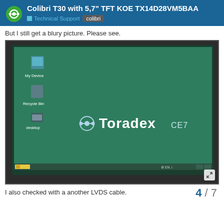Colibri T30 with 5,7" TFT KOE TX14D28VM5BAA — Technical Support | colibri
But I still get a blury picture. Please see.
[Figure (screenshot): A photo of a TFT display showing a Windows CE 7 desktop with Toradex branding. The screen shows icons for 'My Device', 'Recycle Bin', and 'desktop' on a teal/green background, with the Toradex CE7 logo in the center. The taskbar is visible at the bottom.]
I also checked with a another LVDS cable.
4 / 7